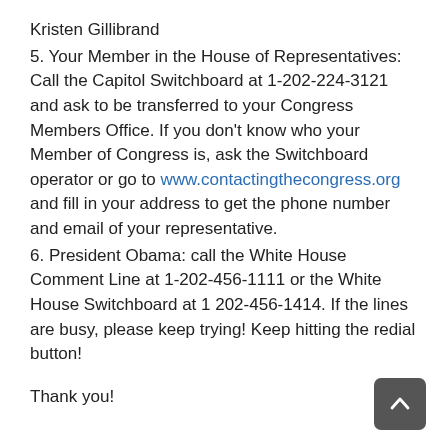Kristen Gillibrand
5. Your Member in the House of Representatives: Call the Capitol Switchboard at 1-202-224-3121 and ask to be transferred to your Congress Members Office. If you don't know who your Member of Congress is, ask the Switchboard operator or go to www.contactingthecongress.org and fill in your address to get the phone number and email of your representative.
6. President Obama: call the White House Comment Line at 1-202-456-1111 or the White House Switchboard at 1 202-456-1414. If the lines are busy, please keep trying! Keep hitting the redial button!
Thank you!